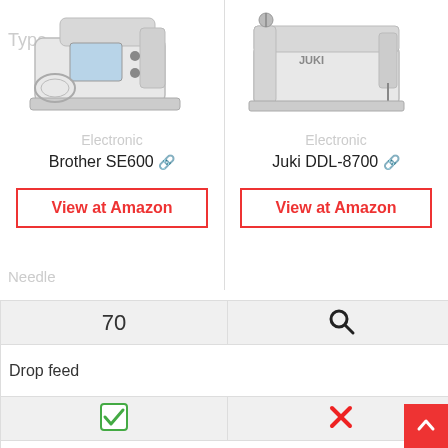Type
[Figure (photo): Brother SE600 sewing machine photo]
Electronic
Brother SE600 🔗
View at Amazon
[Figure (photo): Juki DDL-8700 sewing machine photo]
Electronic
Juki DDL-8700 🔗
View at Amazon
Needle
| Brother SE600 | Juki DDL-8700 |
| --- | --- |
| 70 | 🔍 |
| Drop feed |  |
| ✔ | ✘ |
| Work light |  |
| ✔ | ✔ |
| Cover |  |
| dust cover | has not |